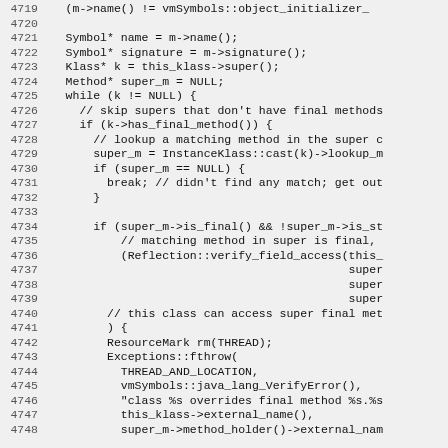[Figure (screenshot): Source code listing lines 4719-4748 in C++ showing method lookup and override checking logic]